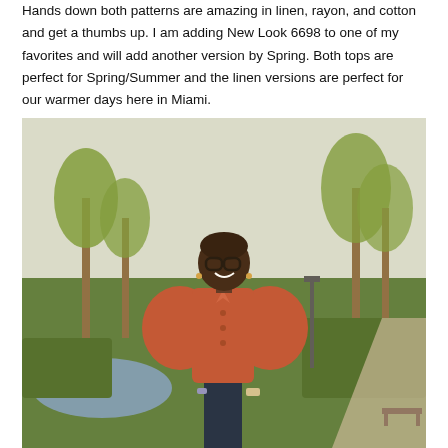Hands down both patterns are amazing in linen, rayon, and cotton and get a thumbs up. I am adding New Look 6698 to one of my favorites and will add another version by Spring. Both tops are perfect for Spring/Summer and the linen versions are perfect for our warmer days here in Miami.
[Figure (photo): A woman wearing a rust/terracotta linen top with puffed sleeves and dark trousers, smiling outdoors in a park setting with palm trees, green hedges, and a pond in the background.]